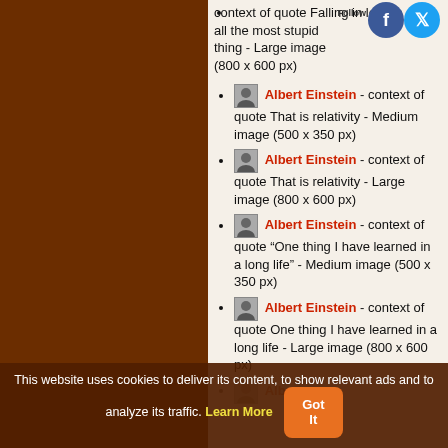context of quote Falling in love is not at all the most stupid thing - Large image (800 x 600 px)
Albert Einstein - context of quote That is relativity - Medium image (500 x 350 px)
Albert Einstein - context of quote That is relativity - Large image (800 x 600 px)
Albert Einstein - context of quote "One thing I have learned in a long life" - Medium image (500 x 350 px)
Albert Einstein - context of quote One thing I have learned in a long life - Large image (800 x 600 px)
This website uses cookies to deliver its content, to show relevant ads and to analyze its traffic. Learn More
Got It